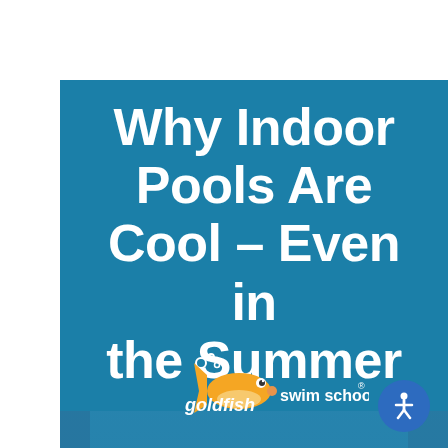[Figure (photo): Indoor swimming pool with lanes, teal-blue water, glass walls on the right side, overhead ceiling structure. Goldfish Swim School logo overlaid at bottom center. Blue accessibility icon circle at bottom right.]
Why Indoor Pools Are Cool – Even in the Summer